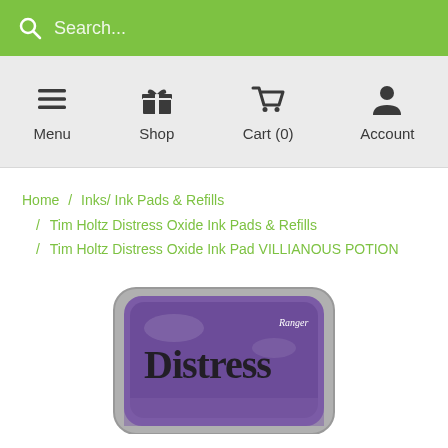Search...
[Figure (screenshot): Navigation bar with Menu, Shop, Cart (0), Account icons on grey background]
Home / Inks/ Ink Pads & Refills / Tim Holtz Distress Oxide Ink Pads & Refills / Tim Holtz Distress Oxide Ink Pad VILLIANOUS POTION
[Figure (photo): Tim Holtz Distress Oxide Ink Pad in Villianous Potion color by Ranger, partially visible at bottom of page, purple color]